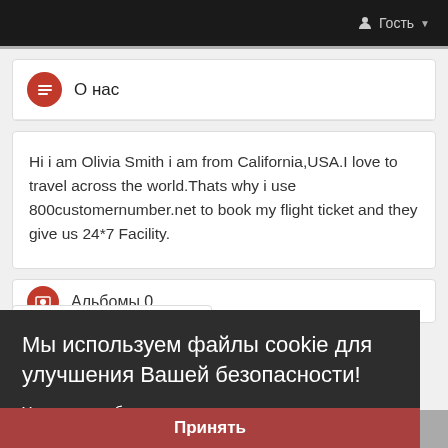Гость
О нас
Hi i am Olivia Smith i am from California,USA.I love to travel across the world.Thats why i use 800customernumber.net to book my flight ticket and they give us 24*7 Facility.
Альбомы 0
Мы используем файлы cookie для улучшения Вашей безопасности!
Узнать подробнее
Подписчики 41
Принять